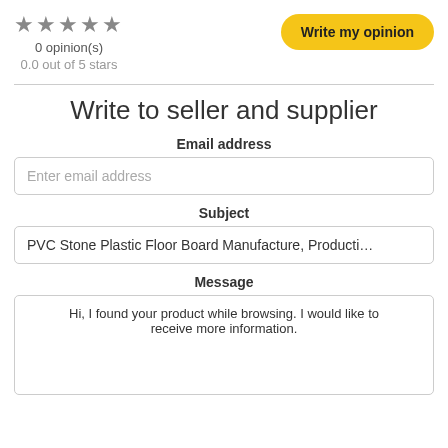[Figure (other): 5 grey stars rating display]
0 opinion(s)
0.0 out of 5 stars
Write my opinion
Write to seller and supplier
Email address
Enter email address
Subject
PVC Stone Plastic Floor Board Manufacture, Producti…
Message
Hi, I found your product while browsing. I would like to receive more information.